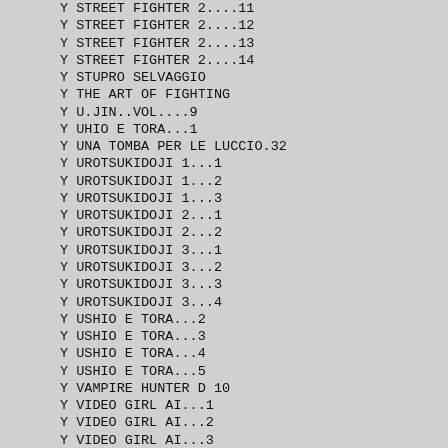Y STREET FIGHTER 2....11
Y STREET FIGHTER 2....12
Y STREET FIGHTER 2....13
Y STREET FIGHTER 2....14
Y STUPRO SELVAGGIO
Y THE ART OF FIGHTING
Y U.JIN..VOL....9
Y UHIO E TORA...1
Y UNA TOMBA PER LE LUCCIO.32
Y UROTSUKIDOJI 1...1
Y UROTSUKIDOJI 1...2
Y UROTSUKIDOJI 1...3
Y UROTSUKIDOJI 2...1
Y UROTSUKIDOJI 2...2
Y UROTSUKIDOJI 3...1
Y UROTSUKIDOJI 3...2
Y UROTSUKIDOJI 3...3
Y UROTSUKIDOJI 3...4
Y USHIO E TORA...2
Y USHIO E TORA...3
Y USHIO E TORA...4
Y USHIO E TORA...5
Y VAMPIRE HUNTER D 10
Y VIDEO GIRL AI...1
Y VIDEO GIRL AI...2
Y VIDEO GIRL AI...3
Y WICKED CITY
Y YOKO CACCIAT.DI DEMONI 26
Y YOMA LA STIR.D.TEN. 8
Y YUYU HAKUSHO I G.DELL'IN.36
Y THE VENUS WARS 8